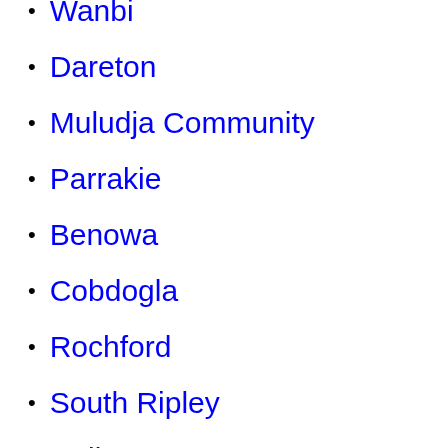Wanbi
Dareton
Muludja Community
Parrakie
Benowa
Cobdogla
Rochford
South Ripley
Calista
Eltham North
Mt Ossa
Wirrina Cove